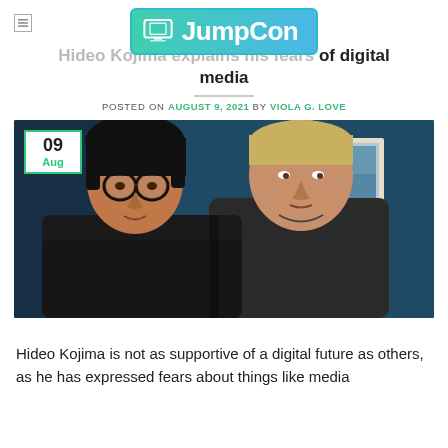JumpCon
Hideo Kojima explains his fears of digital media
POSTED ON AUGUST 9, 2021 BY VIOLA G. LOVE
[Figure (photo): Two men standing together indoors in front of a dark teal wall with framed pictures. Left man has dark hair and round glasses wearing a black sweater. Right man is taller with blonde hair wearing a dark grey long-sleeve shirt. A white date badge in the top-left corner shows '09 Aug' in green border.]
Hideo Kojima is not as supportive of a digital future as others, as he has expressed fears about things like media